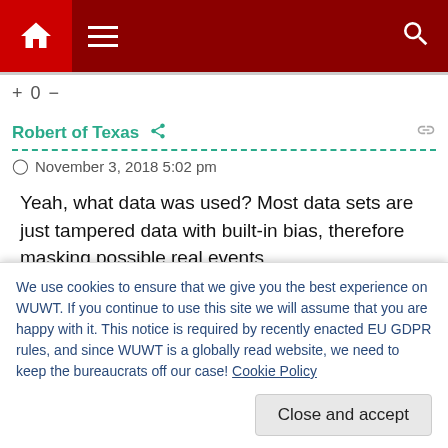[Figure (screenshot): Navigation bar with home icon, hamburger menu, and search icon on dark red background]
+ 0 -
Robert of Texas
November 3, 2018 5:02 pm
Yeah, what data was used? Most data sets are just tampered data with built-in bias, therefore masking possible real events.

I would need to see how this works against several
We use cookies to ensure that we give you the best experience on WUWT. If you continue to use this site we will assume that you are happy with it. This notice is required by recently enacted EU GDPR rules, and since WUWT is a globally read website, we need to keep the bureaucrats off our case! Cookie Policy
Close and accept